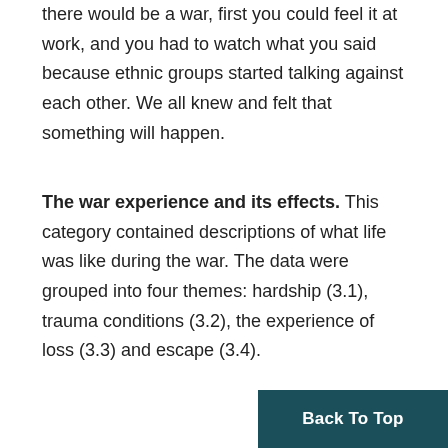there would be a war, first you could feel it at work, and you had to watch what you said because ethnic groups started talking against each other. We all knew and felt that something will happen.
The war experience and its effects. This category contained descriptions of what life was like during the war. The data were grouped into four themes: hardship (3.1), trauma conditions (3.2), the experience of loss (3.3) and escape (3.4).
Back To Top